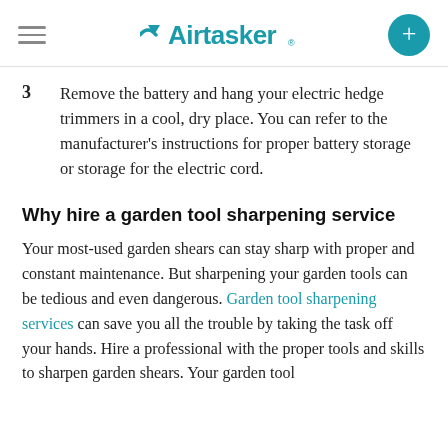Airtasker
3  Remove the battery and hang your electric hedge trimmers in a cool, dry place. You can refer to the manufacturer's instructions for proper battery storage or storage for the electric cord.
Why hire a garden tool sharpening service
Your most-used garden shears can stay sharp with proper and constant maintenance. But sharpening your garden tools can be tedious and even dangerous. Garden tool sharpening services can save you all the trouble by taking the task off your hands. Hire a professional with the proper tools and skills to sharpen garden shears. Your garden tool